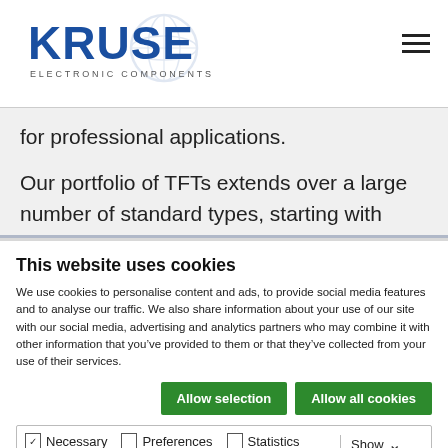KRUSE ELECTRONIC COMPONENTS
for professional applications.
Our portfolio of TFTs extends over a large number of standard types, starting with 0.96 “up to 61” TFTs. In addition, for TFT LCD displays, semi- or completely customer-specific adaptations are feasible for all types.
This website uses cookies
We use cookies to personalise content and ads, to provide social media features and to analyse our traffic. We also share information about your use of our site with our social media, advertising and analytics partners who may combine it with other information that you’ve provided to them or that they’ve collected from your use of their services.
Allow selection | Allow all cookies
Necessary | Preferences | Statistics | Marketing | Show details